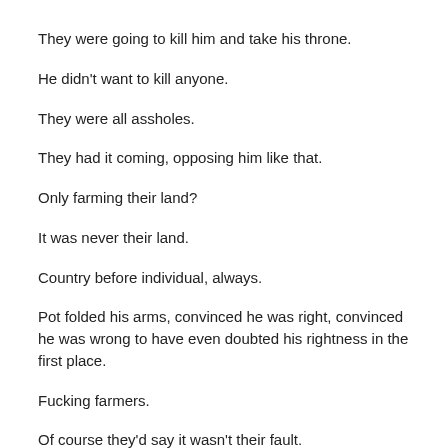They were going to kill him and take his throne.
He didn't want to kill anyone.
They were all assholes.
They had it coming, opposing him like that.
Only farming their land?
It was never their land.
Country before individual, always.
Pot folded his arms, convinced he was right, convinced he was wrong to have even doubted his rightness in the first place.
Fucking farmers.
Of course they'd say it wasn't their fault.